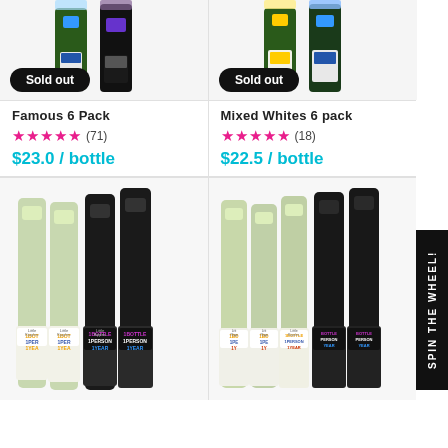[Figure (photo): Two wine bottles with blue and purple labels, 'Sold out' badge overlay]
[Figure (photo): Two wine bottles with yellow and blue labels, 'Sold out' badge overlay]
Famous 6 Pack
★★★★★ (71)
$23.0 / bottle
Mixed Whites 6 pack
★★★★★ (18)
$22.5 / bottle
[Figure (photo): Six wine bottles with Little Ripples labels showing '1 Bottle 1 Person 1 Year' in mixed colors]
[Figure (photo): Six wine bottles with Little Ripples labels showing '1 Bottle 1 Person 1 Year']
SPIN THE WHEEL!